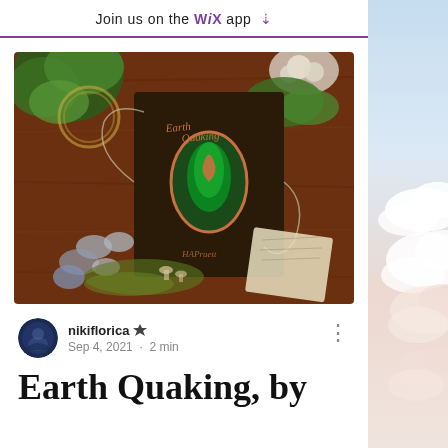Join us on the WiX app
[Figure (photo): Book cover of 'EarthQuaking' by HAPruett, displayed on a wooden surface surrounded by green plants, stones, moss, and natural objects. The dark brown book cover features cursive title text and an oval illustration with a green feathered bird.]
nikiflorica  Sep 4, 2021 · 2 min
Earth Quaking, by